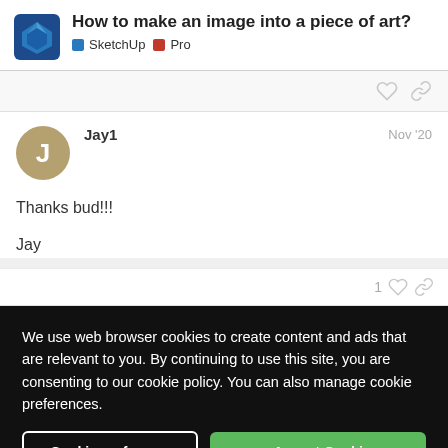How to make an image into a piece of art? SketchUp Pro
Jay1  Nov '20
Thanks bud!!!

Jay
We use web browser cookies to create content and ads that are relevant to you. By continuing to use this site, you are consenting to our cookie policy. You can also manage cookie preferences.